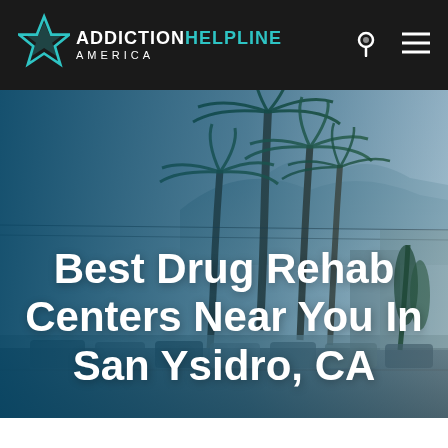ADDICTION HELPLINE AMERICA
[Figure (screenshot): Hero image of a California street with palm trees, overlaid with a dark teal gradient, showing a suburban street with parked cars and mountains in the background.]
Best Drug Rehab Centers Near You In San Ysidro, CA